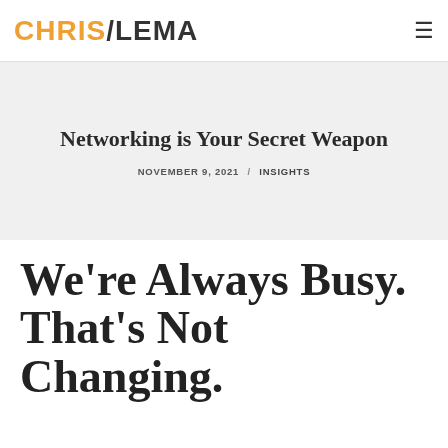CHRIS/LEMA
Networking is Your Secret Weapon
NOVEMBER 9, 2021 / INSIGHTS
We're Always Busy. That's Not Changing.